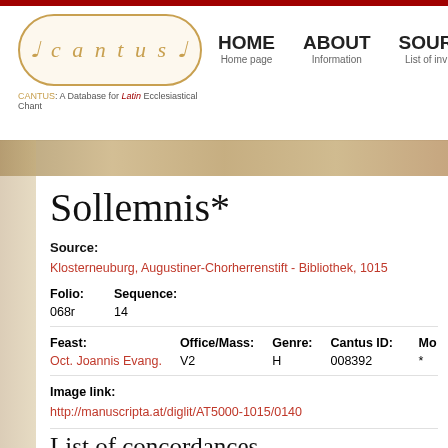CANTUS: A Database for Latin Ecclesiastical Chant — HOME | ABOUT | SOURCES
Sollemnis*
Source:
Klosterneuburg, Augustiner-Chorherrenstift - Bibliothek, 1015
Folio: 068r   Sequence: 14
Feast: Oct. Joannis Evang.   Office/Mass: V2   Genre: H   Cantus ID: 008392   Mode: *
Image link:
http://manuscripta.at/diglit/AT5000-1015/0140
List of concordances
» Display all concordances of this chant